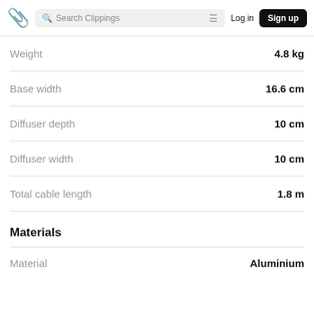Search Clippings | Log in | Sign up
| Property | Value |
| --- | --- |
| Weight | 4.8 kg |
| Base width | 16.6 cm |
| Diffuser depth | 10 cm |
| Diffuser width | 10 cm |
| Total cable length | 1.8 m |
Materials
| Property | Value |
| --- | --- |
| Material | Aluminium |